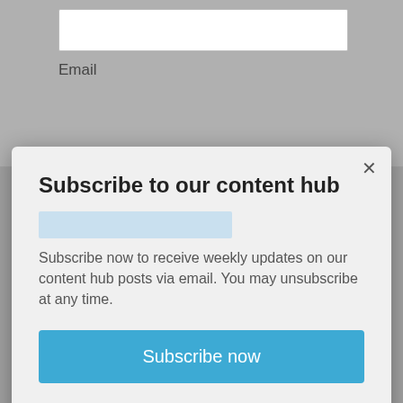Email
[Figure (screenshot): Background webpage with a form containing an input field and Email label, partially obscured by a modal dialog. Behind the modal is a dark navy book cover with text 'THOUGHT LEADERSHIP' and 'INFLUENCE DECISION-MAKERS THROUGH EVIDENCE-BASED RESEARCH'.]
Subscribe to our content hub
Subscribe now to receive weekly updates on our content hub posts via email. You may unsubscribe at any time.
Subscribe now